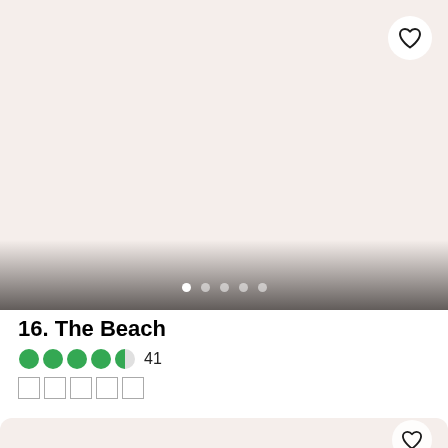[Figure (photo): Beige/blush colored image card placeholder with gradient at bottom and pagination dots overlay]
16. The Beach
41
[Figure (infographic): Tripadvisor green bubble rating: 4.5 out of 5 bubbles]
□□□□□